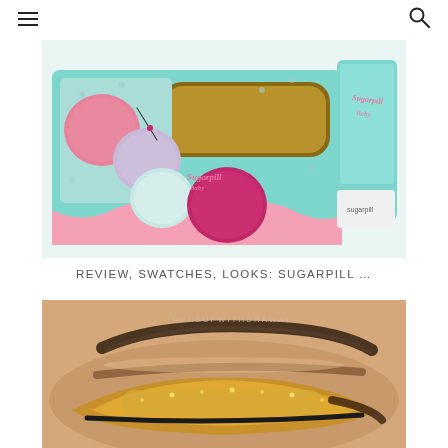≡  🔍
[Figure (photo): Sugarpill makeup palette in mint/teal packaging with pink accents, showing eyeshadow pans including pink, lavender, mint, and magenta shades with a large mirror, next to the branded box]
REVIEW, SWATCHES, LOOKS: SUGARPILL ...
[Figure (photo): Close-up of a woman's eye with a gold/bronze smoky eye look, heavy golden glittery eyeshadow on the lid with dark liner, watermark reads MAKEUPWITHDRAWAL]